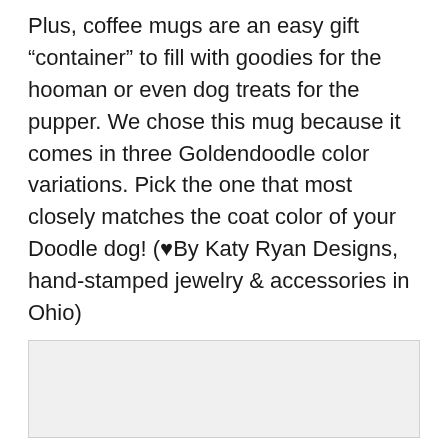Plus, coffee mugs are an easy gift “container” to fill with goodies for the hooman or even dog treats for the pupper. We chose this mug because it comes in three Goldendoodle color variations. Pick the one that most closely matches the coat color of your Doodle dog! (♥By Katy Ryan Designs, hand-stamped jewelry & accessories in Ohio)
[Figure (photo): A light gray rectangular image placeholder at the bottom portion of the page.]